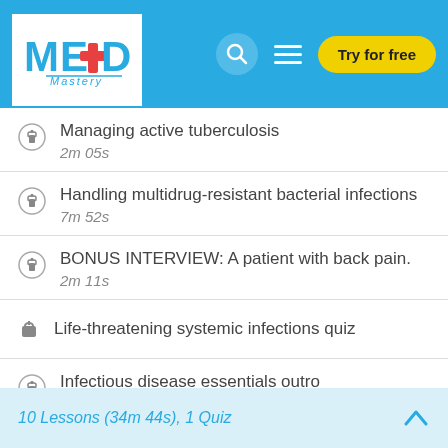MED Mastery — Try for free
Managing active tuberculosis
2m 05s
Handling multidrug-resistant bacterial infections
7m 52s
BONUS INTERVIEW: A patient with back pain.
2m 11s
Life-threatening systemic infections quiz
Infectious disease essentials outro
1m 17s
10 Lessons (34m 44s), 1 Quiz